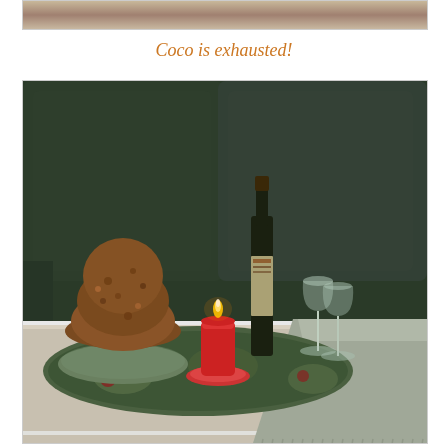[Figure (photo): Top portion of a photo, showing a textured fabric or upholstery background in warm brown/tan tones — appears to be the bottom crop of a previous image.]
Coco is exhausted!
[Figure (photo): A cozy indoor scene with a decorative tray on a white-framed coffee table in front of a dark green sofa. On the tray: a panettone (Italian bread), a lit red pillar candle on a small saucer, a dark wine/liqueur bottle, and two glass goblets. A grey throw blanket is draped over the right side of the table/sofa.]